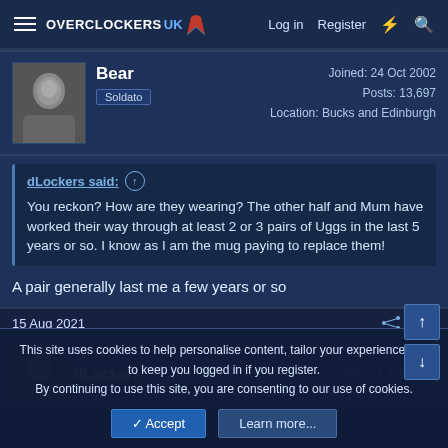OVERCLOCKERS UK — Log in   Register
Bear
Soldato
Joined: 24 Oct 2002
Posts: 13,697
Location: Bucks and Edinburgh
dLockers said: ↑
You reckon? How are they wearing? The other half and Mum have worked their way through at least 2 or 3 pairs of Uggs in the last 5 years or so. I know as I am the mug paying to replace them!
A pair generally last me a few years or so
15 Aug 2021  #33
dLockers
Joined: 21 Jan 2010
This site uses cookies to help personalise content, tailor your experience and to keep you logged in if you register.
By continuing to use this site, you are consenting to our use of cookies.
✓ Accept   Learn more...